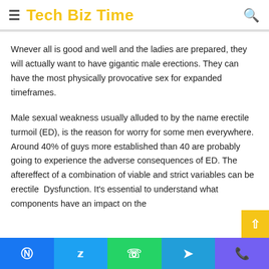Tech Biz Time
Wnever all is good and well and the ladies are prepared, they will actually want to have gigantic male erections. They can have the most physically provocative sex for expanded timeframes.
Male sexual weakness usually alluded to by the name erectile turmoil (ED), is the reason for worry for some men everywhere. Around 40% of guys more established than 40 are probably going to experience the adverse consequences of ED. The aftereffect of a combination of viable and strict variables can be erectile Dysfunction. It's essential to understand what components have an impact on the